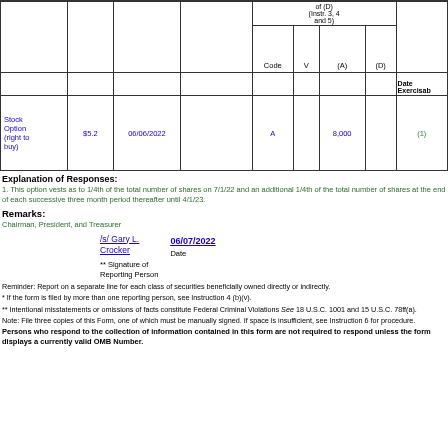|  |  |  |  | Code | V | (A) | (D) | Date Exercisable |
| --- | --- | --- | --- | --- | --- | --- | --- | --- |
| Stock Option (right to buy) | $5.2 | 06/06/2022 |  | A |  | 8,000 |  | (1) |
Explanation of Responses:
1. This option vests as to 1/4th of the total number of shares on 7/1/22 and an additional 1/4th of the total number of shares at the end of each successive three month period thereafter until 4/1/23.
Remarks:
Chairman, President, and Treasurer
/s/ Gary L. Crocker
06/07/2022
** Signature of Reporting Person   Date
Reminder: Report on a separate line for each class of securities beneficially owned directly or indirectly.
* If the form is filed by more than one reporting person, see Instruction 4 (b)(v).
** Intentional misstatements or omissions of facts constitute Federal Criminal Violations See 18 U.S.C. 1001 and 15 U.S.C. 78ff(a).
Note: File three copies of this Form, one of which must be manually signed. If space is insufficient, see Instruction 6 for procedure.
Persons who respond to the collection of information contained in this form are not required to respond unless the form displays a currently valid OMB Number.